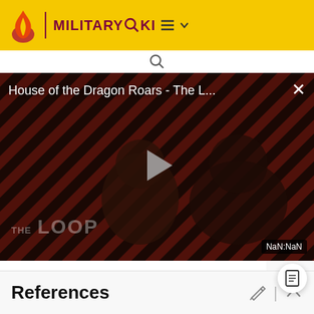MILITARY WIKI
[Figure (screenshot): Video player showing 'House of the Dragon Roars - The L...' with a play button overlay, diagonal stripe red/black background, two figures visible, 'THE LOOP' text at bottom, and NaN:NaN timestamp badge]
Lieutenant General F.P. Ozerov (February 1945 to the end of the war)
References